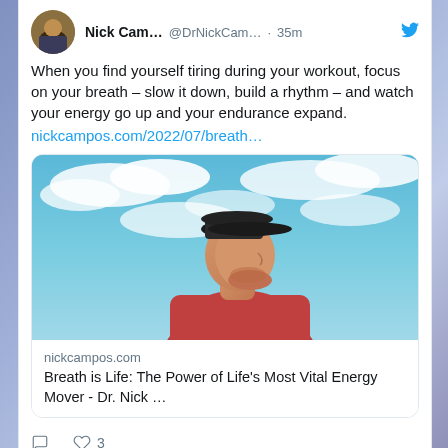Nick Cam... @DrNickCam... · 35m
When you find yourself tiring during your workout, focus on your breath – slow it down, build a rhythm – and watch your energy go up and your endurance expand. nickcampos.com/2022/07/breath…
[Figure (photo): Man in profile view wearing a baseball cap and red shirt, looking upward against a cloudy sky background]
nickcampos.com
Breath is Life: The Power of Life's Most Vital Energy Mover - Dr. Nick …
♡ 3
Nick Campos Retweeted